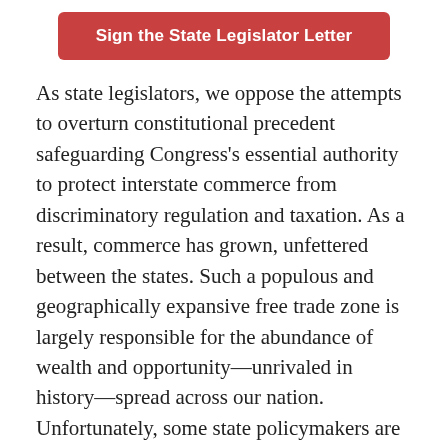[Figure (other): Red button labeled 'Sign the State Legislator Letter']
As state legislators, we oppose the attempts to overturn constitutional precedent safeguarding Congress's essential authority to protect interstate commerce from discriminatory regulation and taxation. As a result, commerce has grown, unfettered between the states. Such a populous and geographically expansive free trade zone is largely responsible for the abundance of wealth and opportunity—unrivaled in history—spread across our nation. Unfortunately, some state policymakers are attempting to resolve their overspending problems to look aggressively beyond their own state lines for tax revenue. This misguided bid to resolve their overspending problems utterly violates the constitutional principles that provide a